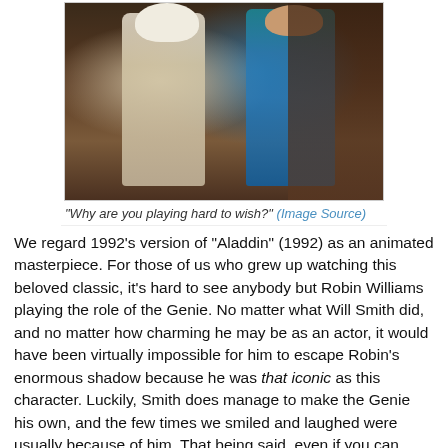[Figure (photo): Two actors in costume from the 2019 Aladdin film — one in white robes with a turban, one in a blue and teal ornate outfit — standing together in an opulent interior setting.]
"Why are you playing hard to wish?" (Image Source)
We regard 1992's version of "Aladdin" (1992) as an animated masterpiece. For those of us who grew up watching this beloved classic, it's hard to see anybody but Robin Williams playing the role of the Genie. No matter what Will Smith did, and no matter how charming he may be as an actor, it would have been virtually impossible for him to escape Robin's enormous shadow because he was that iconic as this character. Luckily, Smith does manage to make the Genie his own, and the few times we smiled and laughed were usually because of him. That being said, even if you can separate the two version of the character and the film as a whole, this incarnation of "Aladdin" leaves a lot to be desired. Like, a lot. In many respects, but the...